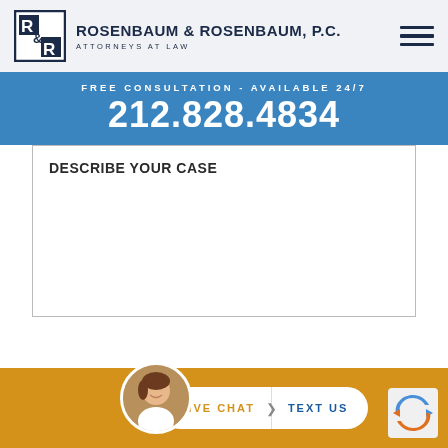[Figure (logo): Rosenbaum & Rosenbaum P.C. law firm logo — R&R monogram in a bordered square, next to firm name and hamburger menu]
ROSENBAUM & ROSENBAUM, P.C.
ATTORNEYS AT LAW
FREE CONSULTATION - AVAILABLE 24/7
212.828.4834
DESCRIBE YOUR CASE
LIVE CHAT   TEXT US